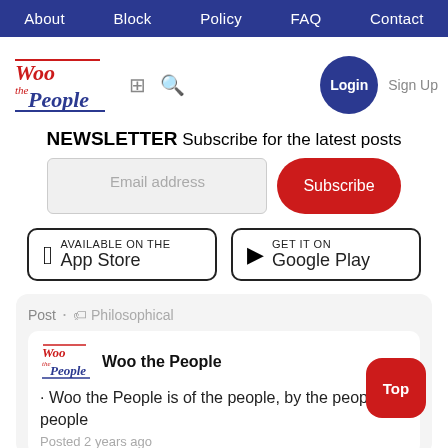About  Block  Policy  FAQ  Contact
[Figure (logo): Woo the People logo - red italic script with blue underline]
Login  Sign Up
NEWSLETTER Subscribe for the latest posts
Email address  Subscribe
[Figure (screenshot): App Store and Google Play download badges]
Post . Philosophical
Woo the People
. Woo the People is of the people, by the people people
Posted 2 years ago